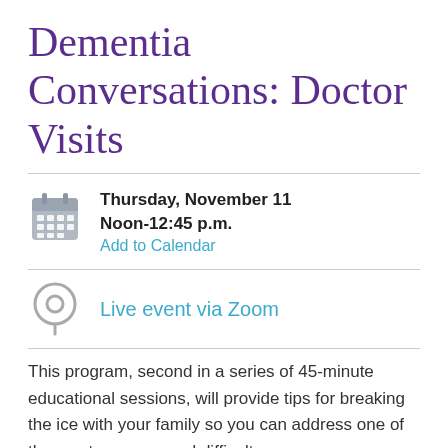Dementia Conversations: Doctor Visits
Thursday, November 11
Noon-12:45 p.m.
Add to Calendar
Live event via Zoom
This program, second in a series of 45-minute educational sessions, will provide tips for breaking the ice with your family so you can address one of the most common and difficult